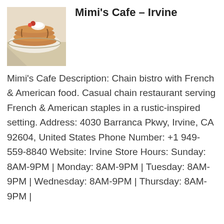[Figure (photo): Photo of pancakes or bread with cream on a plate, food/restaurant image]
Mimi's Cafe – Irvine
Mimi's Cafe Description: Chain bistro with French & American food. Casual chain restaurant serving French & American staples in a rustic-inspired setting. Address: 4030 Barranca Pkwy, Irvine, CA 92604, United States Phone Number: +1 949-559-8840 Website: Irvine Store Hours: Sunday: 8AM-9PM | Monday: 8AM-9PM | Tuesday: 8AM-9PM | Wednesday: 8AM-9PM | Thursday: 8AM-9PM |